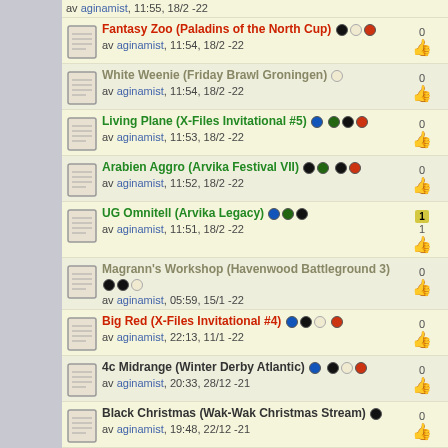av aginamist, 11:55, 18/2 -22
Fantasy Zoo (Paladins of the North Cup) av aginamist, 11:54, 18/2 -22, 0 votes
White Weenie (Friday Brawl Groningen) av aginamist, 11:54, 18/2 -22, 0 votes
Living Plane (X-Files Invitational #5) av aginamist, 11:53, 18/2 -22, 0 votes
Arabien Aggro (Arvika Festival VII) av aginamist, 11:52, 18/2 -22, 0 votes
UG Omnitell (Arvika Legacy) av aginamist, 11:51, 18/2 -22, 1 vote
Magrann's Workshop (Havenwood Battleground 3) av aginamist, 05:59, 15/1 -22, 0 votes
Big Red (X-Files Invitational #4) av aginamist, 22:13, 11/1 -22, 0 votes
4c Midrange (Winter Derby Atlantic) av aginamist, 20:33, 28/12 -21, 0 votes
Black Christmas (Wak-Wak Christmas Stream) av aginamist, 19:48, 22/12 -21, 0 votes
Reanimator Scryings (Sloth Party) av aginamist, 14:15, 8/12 -21, 0 votes